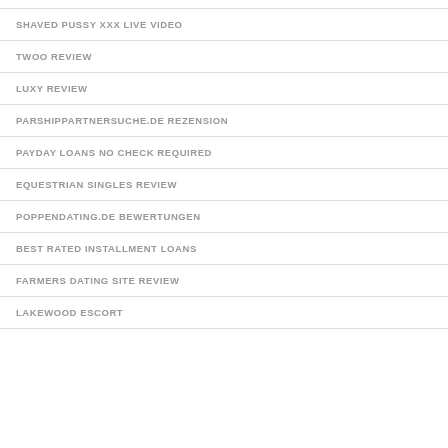SHAVED PUSSY XXX LIVE VIDEO
TWOO REVIEW
LUXY REVIEW
PARSHIPPARTNERSUCHE.DE REZENSION
PAYDAY LOANS NO CHECK REQUIRED
EQUESTRIAN SINGLES REVIEW
POPPENDATING.DE BEWERTUNGEN
BEST RATED INSTALLMENT LOANS
FARMERS DATING SITE REVIEW
LAKEWOOD ESCORT